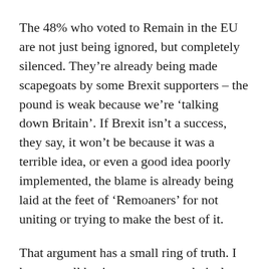The 48% who voted to Remain in the EU are not just being ignored, but completely silenced. They're already being made scapegoats by some Brexit supporters – the pound is weak because we're 'talking down Britain'. If Brexit isn't a success, they say, it won't be because it was a terrible idea, or even a good idea poorly implemented, the blame is already being laid at the feet of 'Remoaners' for not uniting or trying to make the best of it.
That argument has a small ring of truth. I know small business owners, technical professionals, skilled and educated people who are looking at emigrating because of the government's